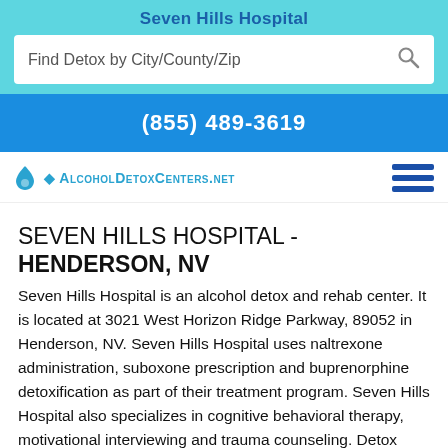Seven Hills Hospital
Find Detox by City/County/Zip
(855) 489-3619
[Figure (logo): AlcoholDetoxCenters.net logo with water drop icon and hamburger menu]
SEVEN HILLS HOSPITAL - HENDERSON, NV
Seven Hills Hospital is an alcohol detox and rehab center. It is located at 3021 West Horizon Ridge Parkway, 89052 in Henderson, NV. Seven Hills Hospital uses naltrexone administration, suboxone prescription and buprenorphine detoxification as part of their treatment program. Seven Hills Hospital also specializes in cognitive behavioral therapy, motivational interviewing and trauma counseling. Detox